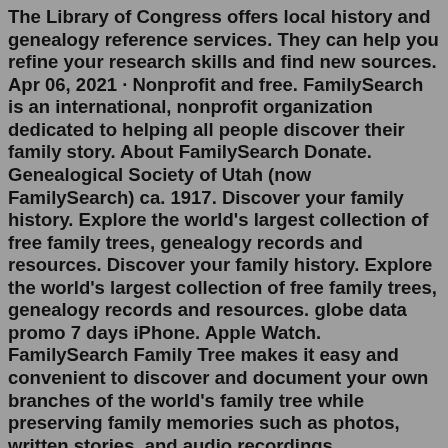The Library of Congress offers local history and genealogy reference services. They can help you refine your research skills and find new sources. Apr 06, 2021 · Nonprofit and free. FamilySearch is an international, nonprofit organization dedicated to helping all people discover their family story. About FamilySearch Donate. Genealogical Society of Utah (now FamilySearch) ca. 1917. Discover your family history. Explore the world's largest collection of free family trees, genealogy records and resources. Discover your family history. Explore the world's largest collection of free family trees, genealogy records and resources. globe data promo 7 days iPhone. Apple Watch. FamilySearch Family Tree makes it easy and convenient to discover and document your own branches of the world's family tree while preserving family memories such as photos, written stories, and audio recordings. FamilySearch. 913,319 likes · 617 talking about this. FamilySearch provides FREE access to family history records and services to people around the world.